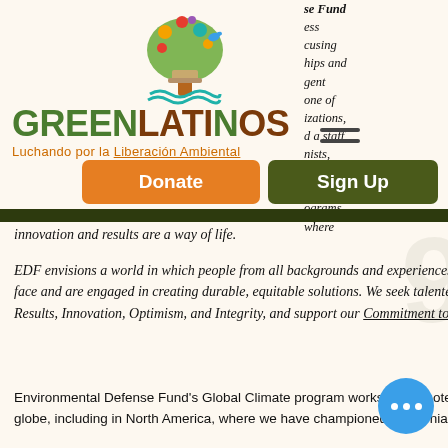[Figure (logo): GreenLatinos tree logo with colorful leaves and animals above the wordmark]
se Fund
ess
cusing
hips and
gent
one of
izations,
d a staff
nists,
around
s with
ograms.
where
GREENLATINOS
Luchando por la Liberación Ambiental
[Figure (infographic): Hamburger menu icon with two horizontal lines]
[Figure (infographic): Orange Donate button]
[Figure (infographic): Dark olive Sign Up button]
innovation and results are a way of life.
EDF envisions a world in which people from all backgrounds and experiences feel connected to the environmental challenges we face and are engaged in creating durable, equitable solutions. We seek talented candidates who share our Core Values of Respect, Results, Innovation, Optimism, and Integrity, and support our Commitment to Diversity.
Environmental Defense Fund's Global Climate program works to promote ambitious market-based climate policies around the globe, including in North America, where we have championed California's cap-and-trade program